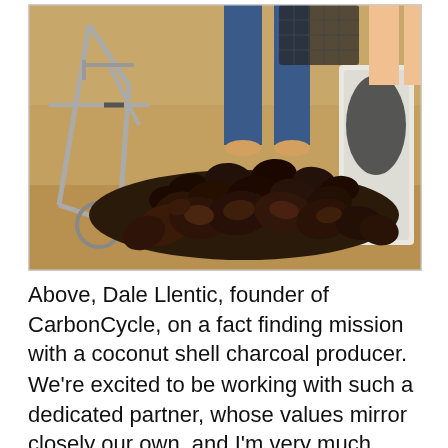[Figure (photo): Outdoor scene showing a large pile of burned/charred coconut shells on the ground. A person in jeans and sandals stands behind the pile, and a bicycle frame is visible on the left side. A white sack is visible on the right.]
Above, Dale Llentic, founder of CarbonCycle, on a fact finding mission with a coconut shell charcoal producer.
We're excited to be working with such a dedicated partner, whose values mirror closely our own, and I'm very much looking forward to presenting the results of this collaboration which is showcasing even